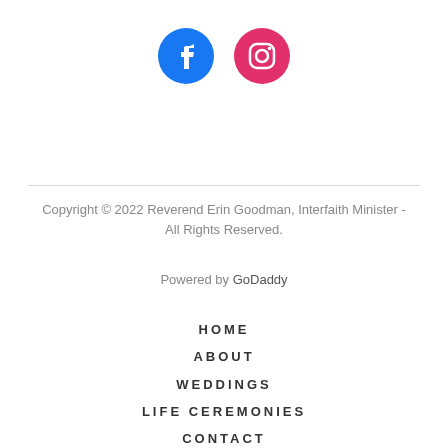[Figure (illustration): Facebook and Instagram social media icons side by side. Facebook icon is a blue circle with white 'f', Instagram icon is a pink/red circle with white camera outline.]
Copyright © 2022 Reverend Erin Goodman, Interfaith Minister - All Rights Reserved.
Powered by GoDaddy
HOME
ABOUT
WEDDINGS
LIFE CEREMONIES
CONTACT